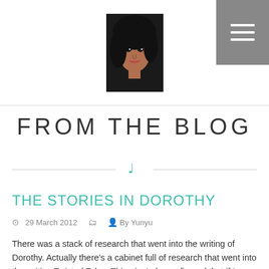Blog site header with portrait logo and hamburger menu
FROM THE BLOG
THE STORIES IN DOROTHY
29 March 2012   By Yunyu
There was a stack of research that went into the writing of Dorothy. Actually there's a cabinet full of research that went into the writing Twisted Tales. Thing is, I always figured that if I was